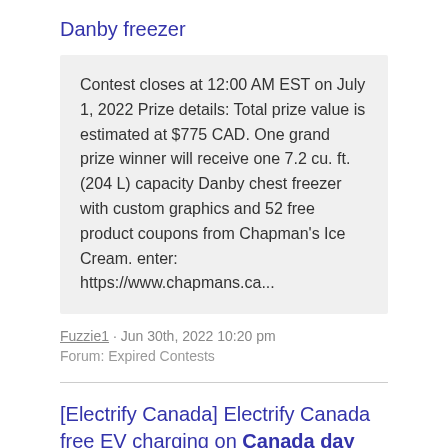Danby freezer
Contest closes at 12:00 AM EST on July 1, 2022 Prize details: Total prize value is estimated at $775 CAD. One grand prize winner will receive one 7.2 cu. ft. (204 L) capacity Danby chest freezer with custom graphics and 52 free product coupons from Chapman’s Ice Cream. enter: https://www.chapmans.ca...
Fuzzie1 · Jun 30th, 2022 10:20 pm
Forum: Expired Contests
[Electrify Canada] Electrify Canada free EV charging on Canada day
Free electric car charging on Canada day.Offer is valid in between 7/01/2022 12:01 a.m. EST. - 3:00 a.m. EST 7/02/22. This offer is available for all public chargers on the Electrify Canada network. All you need to do is plug-